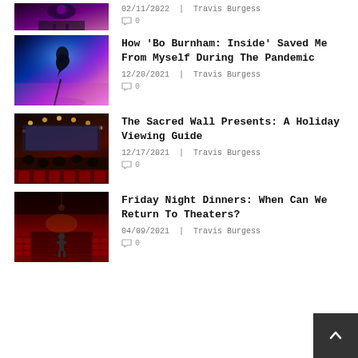[Figure (photo): Partial top image, dark purple stage/performance scene]
02/11/2022 | Travis Burgess
💬 0
[Figure (photo): Silhouette of performer on stage with blue/purple lighting — Bo Burnham: Inside]
How 'Bo Burnham: Inside' Saved Me From Myself During The Pandemic
12/20/2021 | Travis Burgess
💬 0
[Figure (photo): People watching a movie in a dark theater with decorative ceiling lights]
The Sacred Wall Presents: A Holiday Viewing Guide
12/17/2021 | Travis Burgess
💬 0
[Figure (photo): Empty red theater seats with a single person on stage]
Friday Night Dinners: When Can We Return To Theaters?
04/09/2021 | Travis Burgess
💬 0